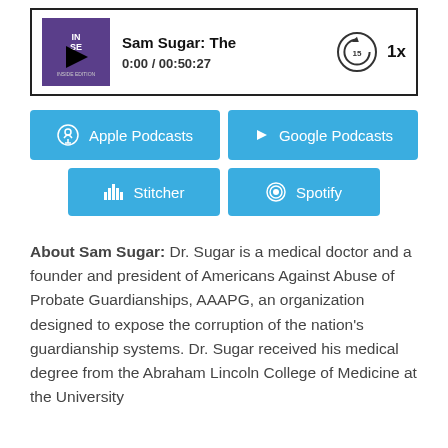[Figure (screenshot): Podcast audio player showing 'Sam Sugar: The' title, 0:00 / 00:50:27 time, replay 15s button, and 1x speed control]
[Figure (screenshot): Podcast platform buttons: Apple Podcasts, Google Podcasts, Stitcher, Spotify]
About Sam Sugar: Dr. Sugar is a medical doctor and a founder and president of Americans Against Abuse of Probate Guardianships, AAAPG, an organization designed to expose the corruption of the nation's guardianship systems. Dr. Sugar received his medical degree from the Abraham Lincoln College of Medicine at the University